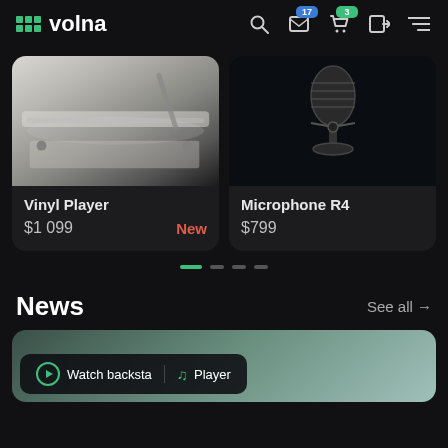volna
[Figure (screenshot): Vinyl Player product card showing a vinyl turntable image, price $1 099, and New badge]
[Figure (screenshot): Microphone R4 product card showing a vintage microphone image, price $799]
Vinyl Player
$1 099
New
Microphone R4
$799
News
See all →
[Figure (screenshot): News card with Watch backsta and Player buttons at bottom]
Watch backsta
Player